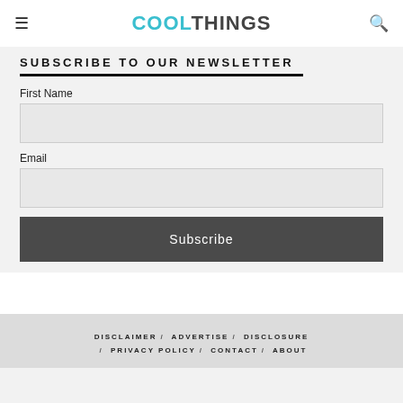COOLTHINGS
SUBSCRIBE TO OUR NEWSLETTER
First Name
Email
Subscribe
DISCLAIMER / ADVERTISE / DISCLOSURE / PRIVACY POLICY / CONTACT / ABOUT